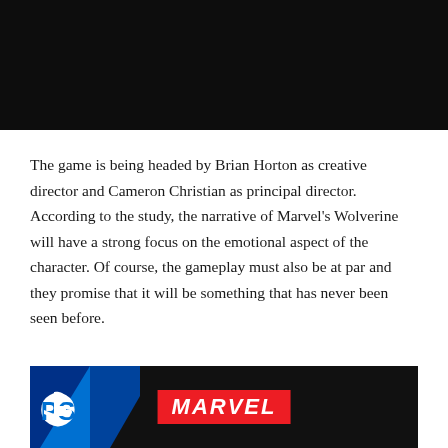[Figure (photo): Dark/black image at the top of the page, appears to be a cropped game screenshot with dark background.]
The game is being headed by Brian Horton as creative director and Cameron Christian as principal director. According to the study, the narrative of Marvel’s Wolverine will have a strong focus on the emotional aspect of the character. Of course, the gameplay must also be at par and they promise that it will be something that has never been seen before.
[Figure (screenshot): Bottom image showing a PlayStation logo in the top-left corner on a dark/black background, with a red Marvel logo centered in the image.]